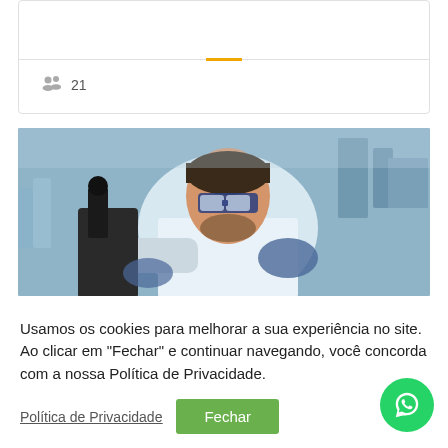21
[Figure (photo): A scientist wearing safety goggles and a white lab coat examining something under a microscope in a laboratory setting]
Usamos os cookies para melhorar a sua experiência no site. Ao clicar em "Fechar" e continuar navegando, você concorda com a nossa Política de Privacidade.
Política de Privacidade   Fechar